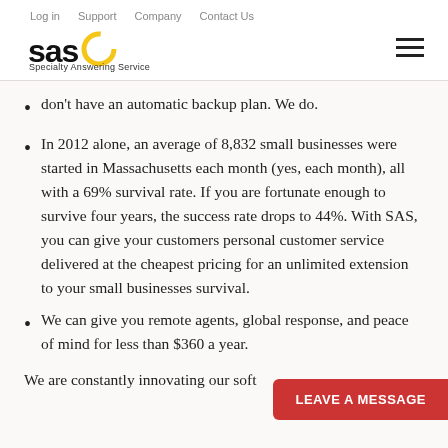Log in  Support  Company  Contact Us
[Figure (logo): SAS (Specialty Answering Service) logo with yellow circle graphic and hamburger menu icon]
don't have an automatic backup plan. We do.
In 2012 alone, an average of 8,832 small businesses were started in Massachusetts each month (yes, each month), all with a 69% survival rate. If you are fortunate enough to survive four years, the success rate drops to 44%. With SAS, you can give your customers personal customer service delivered at the cheapest pricing for an unlimited extension to your small businesses survival.
We can give you remote agents, global response, and peace of mind for less than $360 a year.
We are constantly innovating our soft… o